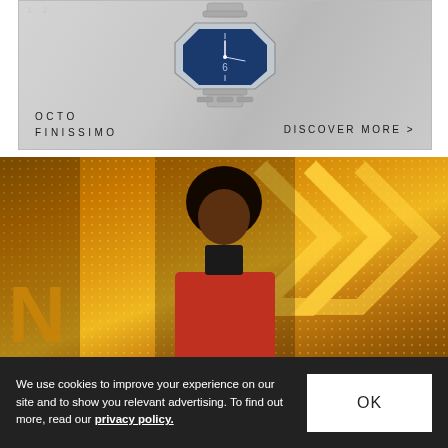[Figure (illustration): Bulgari Octo Finissimo watch advertisement banner. A luxury blue-faced octagonal watch with silver bracelet on a grey geometric background. Text reads 'OCTO FINISSIMO' on the left and 'DISCOVER MORE >' on the right.]
[Figure (photo): A man wearing a red sequined blazer over a black turtleneck, standing in front of a gold glittery background with chevron/arrow light patterns and the letter N visible on the left.]
We use cookies to improve your experience on our site and to show you relevant advertising. To find out more, read our privacy policy.